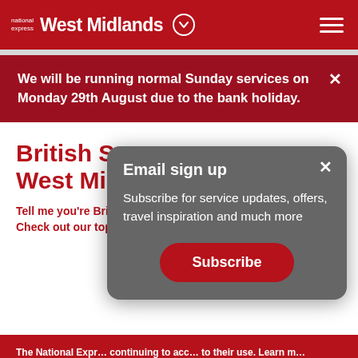national express West Midlands
We will be running normal Sunday services on Monday 29th August due to the bank holiday.
British San... West Midla...
Tell me you're Brit... Check out our top...
[Figure (screenshot): Email sign up modal popup overlay with title 'Email sign up', body text 'Subscribe for service updates, offers, travel inspiration and much more', and a red Subscribe button]
The National Expr... continuing to acc... to their use. Learn m...